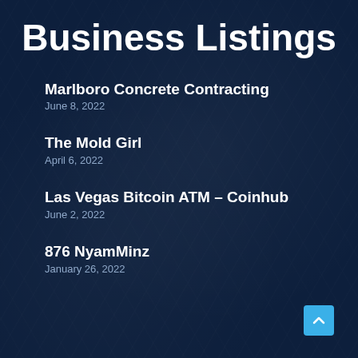Business Listings
Marlboro Concrete Contracting
June 8, 2022
The Mold Girl
April 6, 2022
Las Vegas Bitcoin ATM – Coinhub
June 2, 2022
876 NyamMinz
January 26, 2022